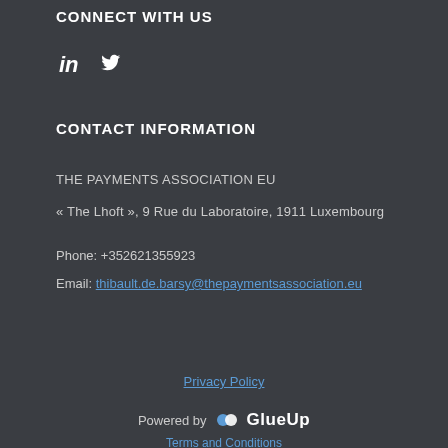CONNECT WITH US
[Figure (other): Social media icons: LinkedIn and Twitter]
CONTACT INFORMATION
THE PAYMENTS ASSOCIATION EU
« The Lhoft », 9 Rue du Laboratoire, 1911 Luxembourg
Phone: +352621355923
Email: thibault.de.barsy@thepaymentsassociation.eu
Privacy Policy
Powered by GlueUp
Terms and Conditions